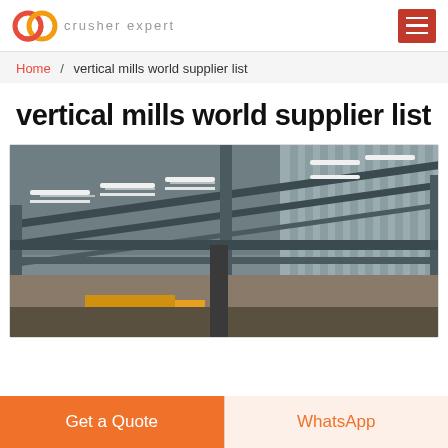crusher expert
Home / vertical mills world supplier list
vertical mills world supplier list
[Figure (photo): Interior of an industrial factory/warehouse showing steel roof trusses, girders, and fluorescent lighting strips from a low-angle view, with yellow equipment visible at the bottom.]
Get a Quote | WhatsApp